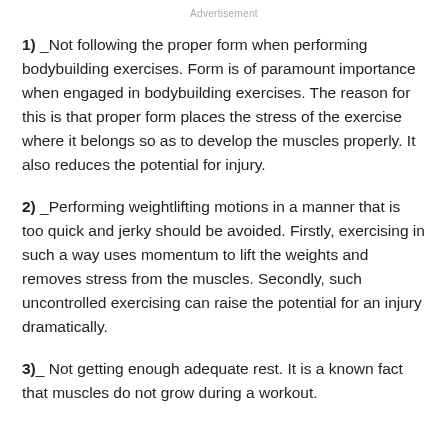Advertisement
1)  _Not following the proper form when performing bodybuilding exercises. Form is of paramount importance when engaged in bodybuilding exercises. The reason for this is that proper form places the stress of the exercise where it belongs so as to develop the muscles properly. It also reduces the potential for injury.
2)  _Performing weightlifting motions in a manner that is too quick and jerky should be avoided. Firstly, exercising in such a way uses momentum to lift the weights and removes stress from the muscles. Secondly, such uncontrolled exercising can raise the potential for an injury dramatically.
3)_  Not getting enough adequate rest. It is a known fact that muscles do not grow during a workout.